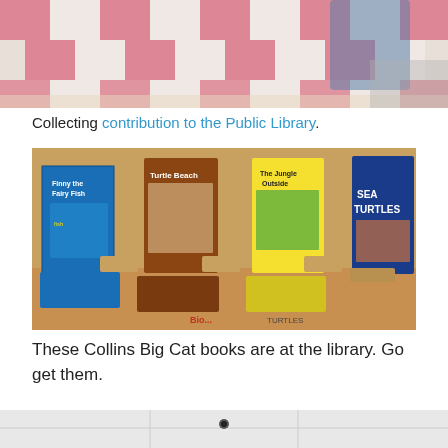[Figure (photo): Top portion of a photo showing a pink-and-white checkered blanket/cloth on a ground surface, with someone's feet/legs visible]
Collecting contribution to the Public Library.
[Figure (photo): Photo of Collins Big Cat books displayed on a wooden shelf: Finny the Fairy Fish, Turtle Beach, The Jungle Outside, Sea Turtles, and related books lying flat]
These Collins Big Cat books are at the library. Go get them.
[Figure (photo): Partial photo showing a white ceiling with a dark object (possibly a camera or fixture)]